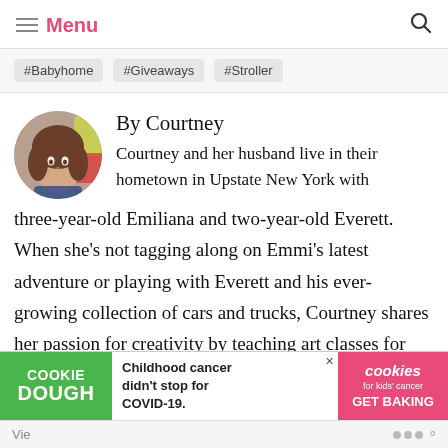☰ Menu 🔍
#Babyhome
#Giveaways
#Stroller
By Courtney
Courtney and her husband live in their hometown in Upstate New York with three-year-old Emiliana and two-year-old Everett. When she's not tagging along on Emmi's latest adventure or playing with Everett and his ever-growing collection of cars and trucks, Courtney shares her passion for creativity by teaching art classes for kids at her studio, Small Fry Art Studio.
[Figure (photo): Circular avatar photo of author Courtney — a young woman with wavy brown hair posing in front of colorful background]
COOKIE DOUGH | Childhood cancer didn't stop for COVID-19. | cookies for kids' cancer GET BAKING
Vie...